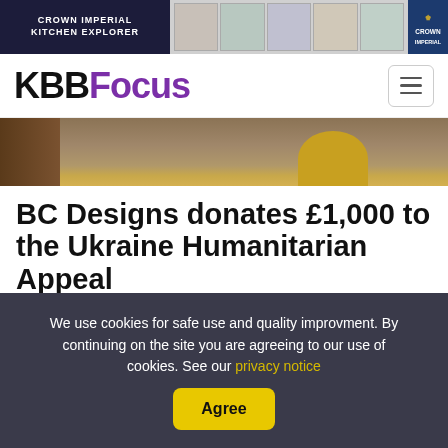[Figure (illustration): Crown Imperial Kitchen Explorer advertisement banner with dark navy left panel showing text and kitchen image thumbnails on the right]
KBBFocus
[Figure (photo): Partial hero image showing a bathroom or kitchen floor with wooden door and yellow object]
BC Designs donates £1,000 to the Ukraine Humanitarian Appeal
Bathrooms  News    Fri 26th Aug 2022
We use cookies for safe use and quality improvment. By continuing on the site you are agreeing to our use of cookies. See our privacy notice   Agree